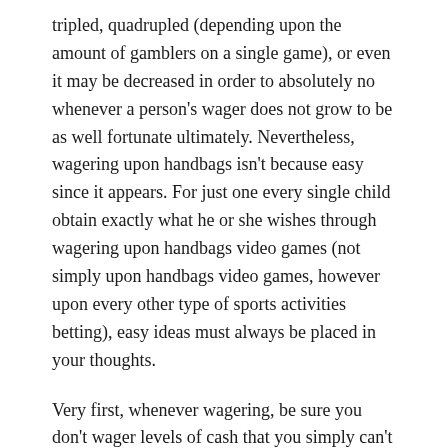tripled, quadrupled (depending upon the amount of gamblers on a single game), or even it may be decreased in order to absolutely no whenever a person's wager does not grow to be as well fortunate ultimately. Nevertheless, wagering upon handbags isn't because easy since it appears. For just one every single child obtain exactly what he or she wishes through wagering upon handbags video games (not simply upon handbags video games, however upon every other type of sports activities betting), easy ideas must always be placed in your thoughts.
Very first, whenever wagering, be sure you don't wager levels of cash that you simply can't pay for to get rid of. Many people obtain as well caught up using their belief within good fortune they wind up totally drawn from money.